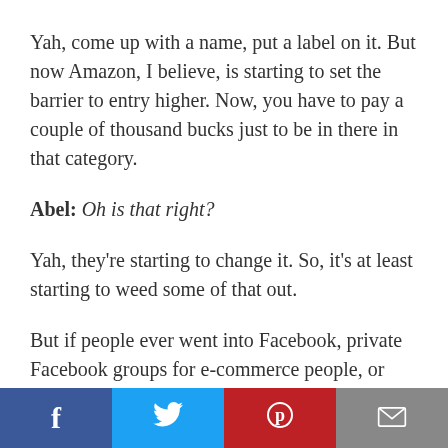Yah, come up with a name, put a label on it. But now Amazon, I believe, is starting to set the barrier to entry higher. Now, you have to pay a couple of thousand bucks just to be in there in that category.
Abel: Oh is that right?
Yah, they're starting to change it. So, it's at least starting to weed some of that out.
But if people ever went into Facebook, private Facebook groups for e-commerce people, or
[Figure (infographic): Social sharing bar with four buttons: Facebook (blue), Twitter (light blue), Pinterest (red), Email (gray)]